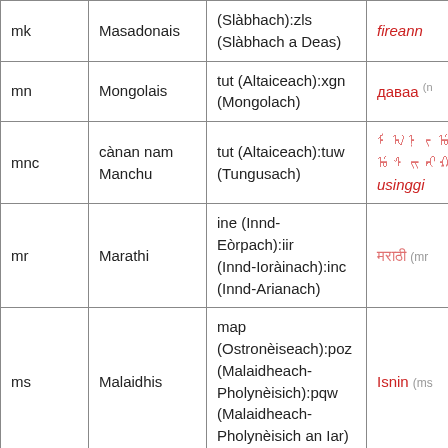| Code | Language | Family | Native name |
| --- | --- | --- | --- |
| mk | Masadonais | (Slàbhach):zls (Slàbhach a Deas) | fireann |
| mn | Mongolais | tut (Altaiceach):xgn (Mongolach) | даваа |
| mnc | cànan nam Manchu | tut (Altaiceach):tuw (Tungusach) | ᠮᠠᠨᠵᡠ usinggi |
| mr | Marathi | ine (Innd-Eòrpach):iir (Innd-Ioranach):inc (Innd-Arianach) | मराठी (mr |
| ms | Malaidhis | map (Ostronèiseach):poz (Malaidheach-Pholynèisich):pqw (Malaidheach-Pholynèisich an Iar) | Isnin (ms |